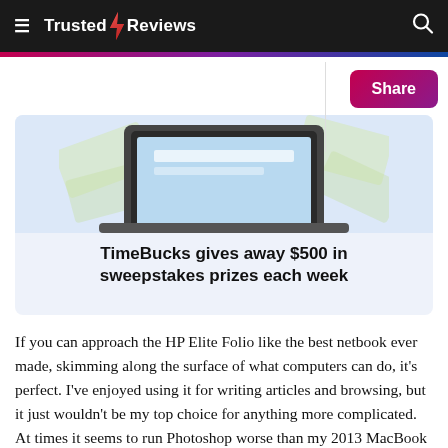Trusted Reviews
[Figure (illustration): Advertisement banner for TimeBucks with a laptop illustration and money bills in background. Text reads: TimeBucks gives away $500 in sweepstakes prizes each week]
If you can approach the HP Elite Folio like the best netbook ever made, skimming along the surface of what computers can do, it's perfect. I've enjoyed using it for writing articles and browsing, but it just wouldn't be my top choice for anything more complicated. At times it seems to run Photoshop worse than my 2013 MacBook Pro and